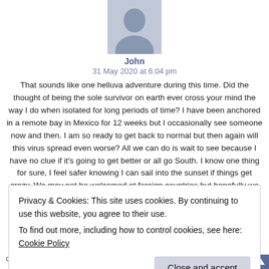[Figure (illustration): Gray placeholder avatar silhouette icon for user 'John']
John
31 May 2020 at 6:04 pm
That sounds like one helluva adventure during this time. Did the thought of being the sole survivor on earth ever cross your mind the way I do when isolated for long periods of time? I have been anchored in a remote bay in Mexico for 12 weeks but I occasionally see someone now and then. I am so ready to get back to normal but then again will this virus spread even worse? All we can do is wait to see because I have no clue if it's going to get better or all go South. I know one thing for sure, I feel safer knowing I can sail into the sunset if things get crazy. We may not be welcomed at foreign countries but hopefully we will find someplace to reprovision before feeling lost at sea.
Privacy & Cookies: This site uses cookies. By continuing to use this website, you agree to their use.
To find out more, including how to control cookies, see here: Cookie Policy
Close and accept
of Patagonia and Chiloe, but no way we could make of it a story as